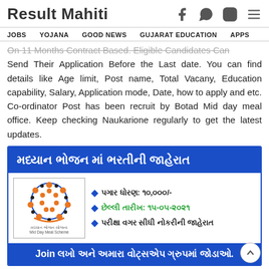Result Mahiti
JOBS   YOJANA   GOOD NEWS   GUJARAT EDUCATION   APPS
On 11 Months Contract Based. Eligible Candidates Can Send Their Application Before the Last date. You can find details like Age limit, Post name, Total Vacany, Education capability, Salary, Application mode, Date, how to apply and etc. Co-ordinator Post has been recruit by Botad Mid day meal office. Keep checking Naukarione regularly to get the latest updates.
[Figure (infographic): Gujarati language infographic banner for Mid Day Meal recruitment with blue header saying 'મધ્યાન ભોજન માં ભરતીની જાહેરાત', Mid Day Meal Scheme logo, and bullet points listing salary 10,000/-, last date 15-05-2021, and direct job without exam announcement]
Join લખો અને અમારા વોટ્સએપ ગ્રુપમાં જોડાઓ.